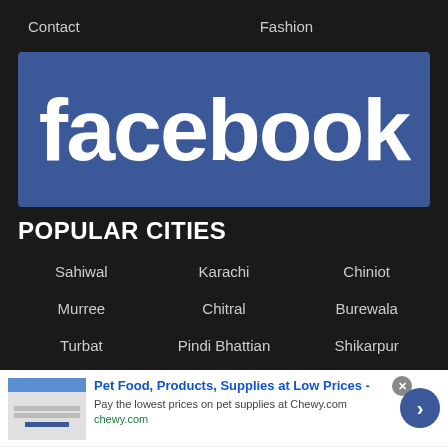Contact   Fashion
[Figure (logo): Facebook logo — white bold 'facebook' text on blue (#3b5998) background]
POPULAR CITIES
Sahiwal
Karachi
Chiniot
Murree
Chitral
Burewala
Turbat
Pindi Bhattian
Shikarpur
Pet Food, Products, Supplies at Low Prices - Pay the lowest prices on pet supplies at Chewy.com chewy.com